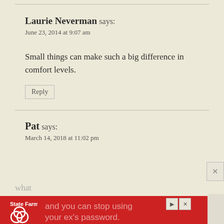Laurie Neverman says:
June 23, 2014 at 9:07 am
Small things can make such a big difference in comfort levels.
Reply
Pat says:
March 14, 2018 at 11:02 pm
what
[Figure (infographic): State Farm advertisement banner: red background with State Farm logo (white circles), text 'and you can stop using your ex's password.' in faded white. Navigation controls on right side.]